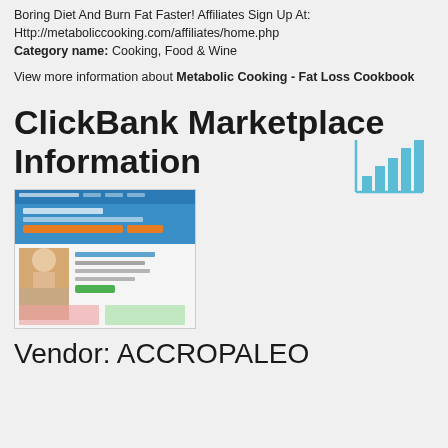Boring Diet And Burn Fat Faster! Affiliates Sign Up At: Http://metaboliccooking.com/affiliates/home.php
Category name: Cooking, Food & Wine
View more information about Metabolic Cooking - Fat Loss Cookbook
[Figure (illustration): Bar chart icon with teal/blue colored bars of increasing height, representing a marketplace analytics icon]
ClickBank Marketplace Information
[Figure (screenshot): Screenshot of a website showing a blue header, orange search bar, and a woman with a smoothie on a health/paleo site]
Vendor: ACCROPALEO